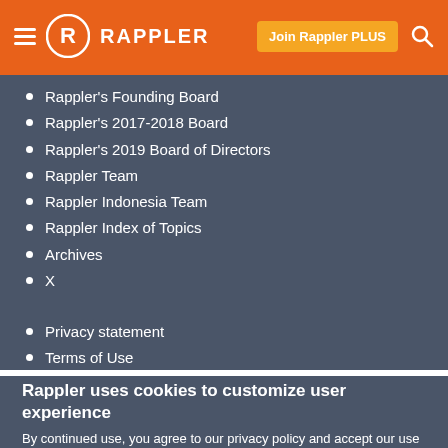RAPPLER
Rappler's Founding Board
Rappler's 2017-2018 Board
Rappler's 2019 Board of Directors
Rappler Team
Rappler Indonesia Team
Rappler Index of Topics
Archives
X
Privacy statement
Terms of Use
Rappler uses cookies to customize user experience
By continued use, you agree to our privacy policy and accept our use of such cookies. For further information, click find out more